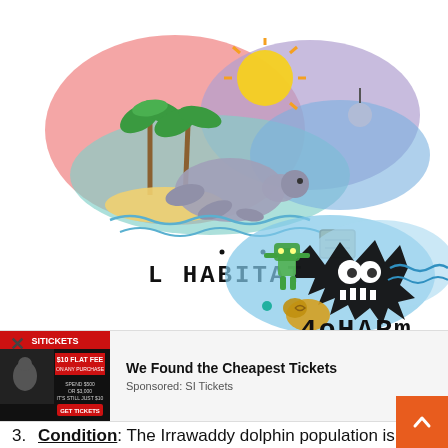[Figure (illustration): Two colorful hand-drawn illustrations. Top illustration shows a manatee/elephant-like creature on a tropical island with palm trees, sun, waves, and various sea elements, labeled 'L HABITAT' in stylized hand-drawn text. Bottom-right illustration shows a spiky dark creature resembling a fish skeleton or explosion shape with googly eyes, alongside a turtle or creature with waves, labeled '4oHARm' in stylized hand-drawn text. A teal dot appears between the two illustrations.]
[Figure (screenshot): Advertisement bar. Close X button on left. Ad image on left showing SI Tickets ad with '$10 FLAT FEE' text on dark background with sports imagery. Text reads 'We Found the Cheapest Tickets' in bold with 'Sponsored: SI Tickets' below.]
3. Condition: The Irrawaddy dolphin population is considered to be a vulnerable species. WWE identified that Irrawaddy